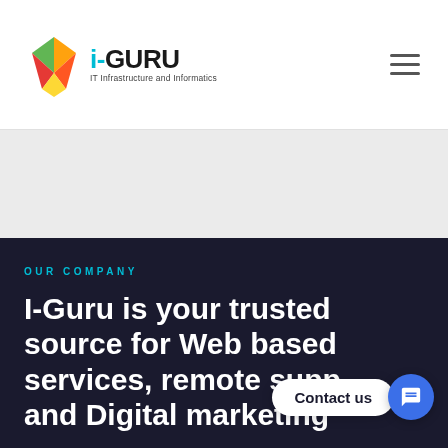[Figure (logo): i-GURU IT Infrastructure and Informatics logo with colorful gem icon]
OUR COMPANY
I-Guru is your trusted source for Web based services, remote support and Digital marketing